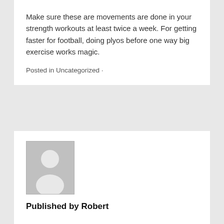Make sure these are movements are done in your strength workouts at least twice a week. For getting faster for football, doing plyos before one way big exercise works magic.
Posted in Uncategorized ·
[Figure (photo): Generic grey avatar placeholder image showing a silhouette of a person]
Published by Robert
View all posts by Robert